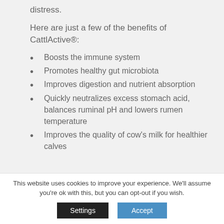distress.
Here are just a few of the benefits of CattlActive®:
Boosts the immune system
Promotes healthy gut microbiota
Improves digestion and nutrient absorption
Quickly neutralizes excess stomach acid, balances ruminal pH and lowers rumen temperature
Improves the quality of cow's milk for healthier calves
This website uses cookies to improve your experience. We'll assume you're ok with this, but you can opt-out if you wish.